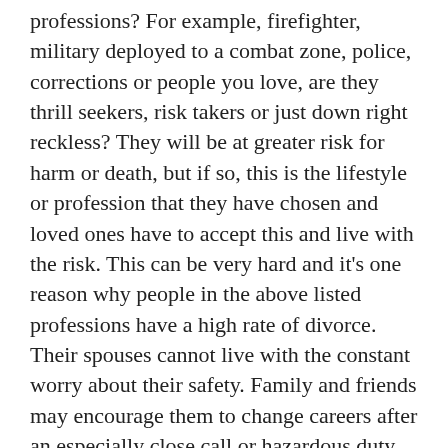professions? For example, firefighter, military deployed to a combat zone, police, corrections or people you love, are they thrill seekers, risk takers or just down right reckless? They will be at greater risk for harm or death, but if so, this is the lifestyle or profession that they have chosen and loved ones have to accept this and live with the risk. This can be very hard and it's one reason why people in the above listed professions have a high rate of divorce. Their spouses cannot live with the constant worry about their safety. Family and friends may encourage them to change careers after an especially close call or hazardous duty.
And if the people you love are not in a high risk profession but have pretty ordinary lives, your family and friends and all the people you love are neither